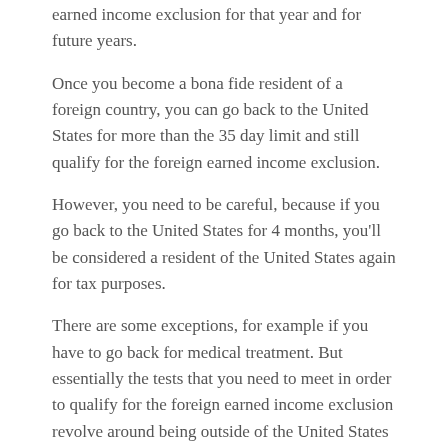earned income exclusion for that year and for future years.
Once you become a bona fide resident of a foreign country, you can go back to the United States for more than the 35 day limit and still qualify for the foreign earned income exclusion.
However, you need to be careful, because if you go back to the United States for 4 months, you'll be considered a resident of the United States again for tax purposes.
There are some exceptions, for example if you have to go back for medical treatment. But essentially the tests that you need to meet in order to qualify for the foreign earned income exclusion revolve around being outside of the United States for 330 days or living a full calendar year abroad.
LAST CHOICE: Exemptions C...